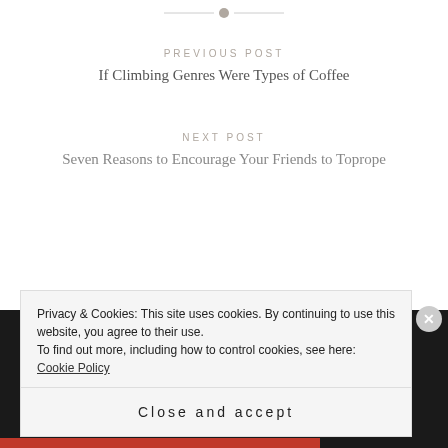[Figure (other): Partial divider with a dot/circle element at top of page]
PREVIOUS POST
If Climbing Genres Were Types of Coffee
NEXT POST
Seven Reasons to Encourage Your Friends to Toprope
Privacy & Cookies: This site uses cookies. By continuing to use this website, you agree to their use.
To find out more, including how to control cookies, see here: Cookie Policy
Close and accept